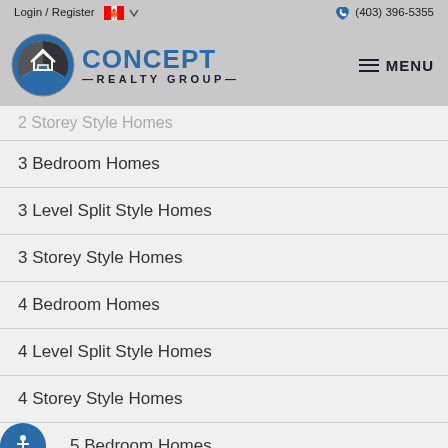Login / Register  🇨🇦  (403) 396-5355
[Figure (logo): Concept Realty Group logo with circular icon and MENU button]
2 Storey Style Homes (partially visible, truncated)
3 Bedroom Homes
3 Level Split Style Homes
3 Storey Style Homes
4 Bedroom Homes
4 Level Split Style Homes
4 Storey Style Homes
5 Bedroom Homes
5 Level Split Style Homes